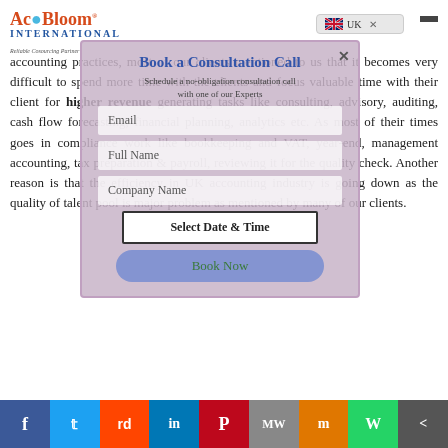[Figure (logo): AcoBloom International logo with tagline 'Reliable Cosourcing Partner']
[Figure (screenshot): UK flag language selector button with close X]
accounting practices, most of our clients mentioned to us that it becomes very difficult to spend more time with the clients and focus valuable time with their client for higher revenue generating tasks like consulting, advisory, auditing, cash flow forecasting, financial planning, analytics etc. As most of their times goes in compliance work like bookkeeping and VAT, year-end, management accounting, tax preparation & payroll, reviewing it for the quality check. Another reason is that the efficiency in UK accounting industry is going down as the quality of talent pool is major problem as mentioned by many of our clients.
[Figure (screenshot): Modal dialog: Book a Consultation Call. Schedule a no-obligation consultation call with one of our experts. Fields: Email, Full Name, Company Name. Button: Select Date & Time. Button: Book Now.]
[Figure (infographic): Social sharing bar with icons for Facebook, Twitter, Reddit, LinkedIn, Pinterest, MeWe, Mix, WhatsApp, Share]